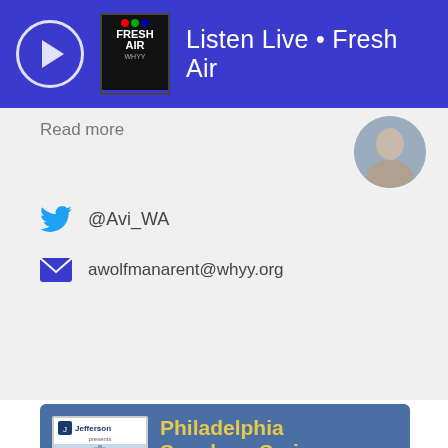Listen Live • Fresh Air
Read more
@Avi_WA
awolfmanarent@whyy.org
[Figure (infographic): Philadelphia Speakers Series advertisement presented by Thomas Jefferson University at the Kimmel Center for the Performing Arts, featuring speakers Tom Friedman, Loretta Lynch, Erik Larson, and Maria Ressa, with 'and more!' text and a GET INFO button]
and more!
GET INFO